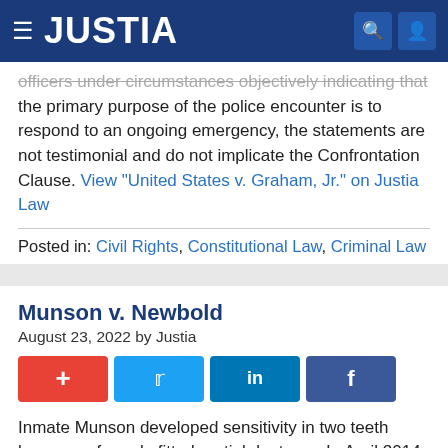JUSTIA
officers under circumstances objectively indicating that the primary purpose of the police encounter is to respond to an ongoing emergency, the statements are not testimonial and do not implicate the Confrontation Clause. View "United States v. Graham, Jr." on Justia Law
Posted in: Civil Rights, Constitutional Law, Criminal Law
Munson v. Newbold
August 23, 2022 by Justia
Inmate Munson developed sensitivity in two teeth because of poorly-fitted partial dentures. In April 2014 he went to the prison's dental unit. One tooth was